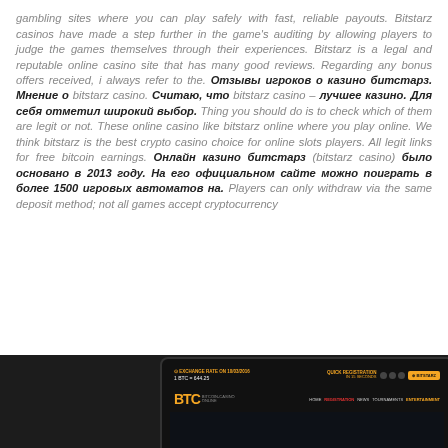gambling sites where you can play safely with fast, reliable payouts. Bitstarz casinos have made a step further in the game's auditing by allowing players to judge the games themselves through their experiences. Bitstarz is a legal and reputable online casino site that has many good reviews. Regarding any bonus offers received, i always refer to the. Отзывы игроков о казино битстарз. Мнение о bitstarz casino. Считаю, что bitstarz casino – лучшее казино. Для себя отметил широкий выбор. Thing you should do is to check which of them are legit or not. These online casino like bitstarz online where you play online. We think bitstarz is the best crypto casino choice for online slots players. All legit links for free bitcoin earnings. Онлайн казино битстарз (bitstarz casino) было основано в 2013 году. На его официальном сайте можно поиграть в более 1500 игровых автоматов на. Players can only withdraw via the same deposit method; not all games accept cryptocurrency
[Figure (screenshot): Screenshot of the Bitstarz online casino website showing the BTC logo, exchange rate, quick registration button, and navigation bar on a dark tablet-style frame.]